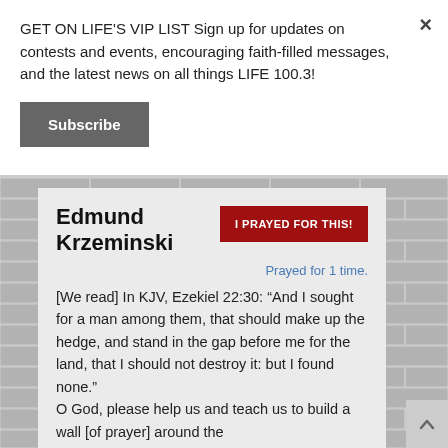GET ON LIFE'S VIP LIST Sign up for updates on contests and events, encouraging faith-filled messages, and the latest news on all things LIFE 100.3!
Subscribe
Edmund Krzeminski
I PRAYED FOR THIS!
Prayed for 1 time.
[We read] In KJV, Ezekiel 22:30: “And I sought for a man among them, that should make up the hedge, and stand in the gap before me for the land, that I should not destroy it: but I found none.” O God, please help us and teach us to build a wall [of prayer] around the